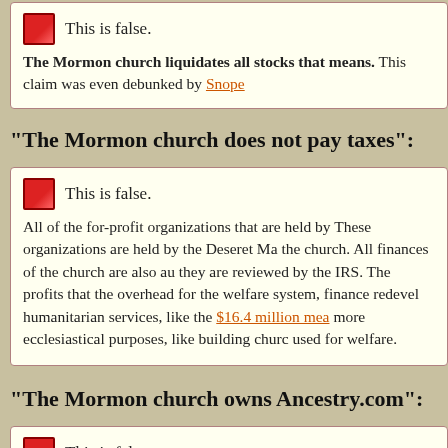This is false.
The Mormon church liquidates all stocks that means. This claim was even debunked by Snopes
"The Mormon church does not pay taxes":
This is false.
All of the for-profit organizations that are held by These organizations are held by the Deseret Man the church. All finances of the church are also au they are reviewed by the IRS. The profits that the overhead for the welfare system, finance redevel humanitarian services, like the $16.4 million mea more ecclesiastical purposes, like building church used for welfare.
"The Mormon church owns Ancestry.com":
This is false.